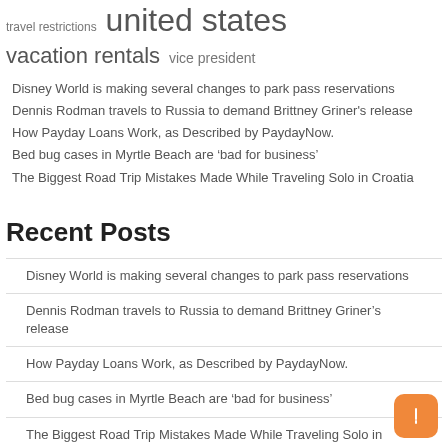travel restrictions united states vacation rentals vice president
Disney World is making several changes to park pass reservations
Dennis Rodman travels to Russia to demand Brittney Griner's release
How Payday Loans Work, as Described by PaydayNow.
Bed bug cases in Myrtle Beach are 'bad for business'
The Biggest Road Trip Mistakes Made While Traveling Solo in Croatia
Recent Posts
Disney World is making several changes to park pass reservations
Dennis Rodman travels to Russia to demand Brittney Griner's release
How Payday Loans Work, as Described by PaydayNow.
Bed bug cases in Myrtle Beach are 'bad for business'
The Biggest Road Trip Mistakes Made While Traveling Solo in Croatia